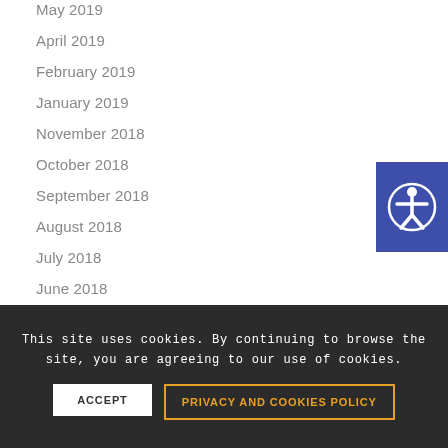May 2019
April 2019
February 2019
January 2019
November 2018
October 2018
September 2018
August 2018
July 2018
June 2018
April 2018
[Figure (illustration): Accessibility widget button with person icon on blue background, positioned at right edge of page]
This site uses cookies. By continuing to browse the site, you are agreeing to our use of cookies.
ACCEPT
PRIVACY AND COOKIES POLICY